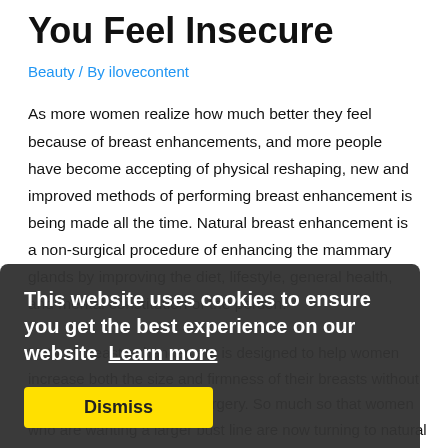You Feel Insecure
Beauty / By ilovecontent
As more women realize how much better they feel because of breast enhancements, and more people have become accepting of physical reshaping, new and improved methods of performing breast enhancement is being made all the time. Natural breast enhancement is a non-surgical procedure of enhancing the mammary glands by improving the diet, lifestyle, general health, and mental constitution of the person.
Natural breast enhancement is designed to help women increase both the size and firmness of their breasts without going through the plastic surgery. So much so that women who are wanting a larger bust line are now turning to natural solutions as opposed to the typical option of breast enlargement surgery.
This website uses cookies to ensure you get the best experience on our website  Learn more
Dismiss